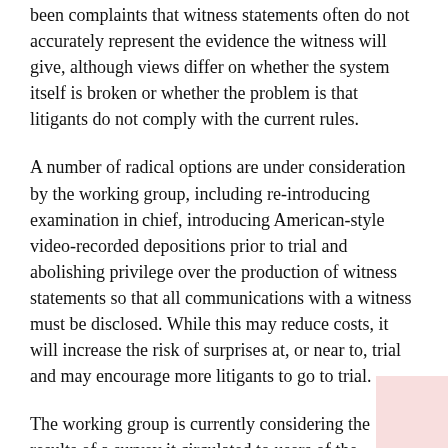been complaints that witness statements often do not accurately represent the evidence the witness will give, although views differ on whether the system itself is broken or whether the problem is that litigants do not comply with the current rules.
A number of radical options are under consideration by the working group, including re-introducing examination in chief, introducing American-style video-recorded depositions prior to trial and abolishing privilege over the production of witness statements so that all communications with a witness must be disclosed. While this may reduce costs, it will increase the risk of surprises at, or near to, trial and may encourage more litigants to go to trial.
The working group is currently considering the results of a survey it circulated to users of the Business and Property